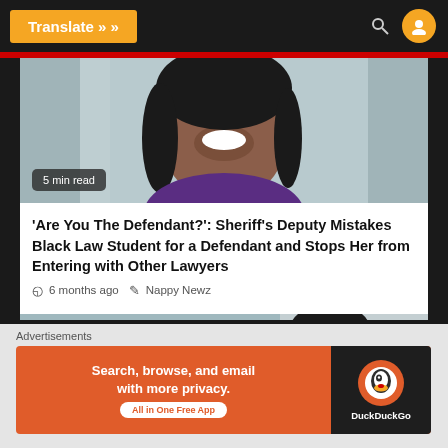Translate »
[Figure (photo): A smiling Black woman photographed from the lower face/neck up, wearing a purple top, shown from below. A '5 min read' badge overlays the bottom-left of the image. Background appears to be an office or indoor setting with gray/blue tones.]
'Are You The Defendant?': Sheriff's Deputy Mistakes Black Law Student for a Defendant and Stops Her from Entering with Other Lawyers
6 months ago   Nappy Newz
[Figure (photo): A second article card showing a smiling Black woman with straight hair, with a 'HEALTH' badge in red at the upper left. A red accent bar and close (X) button appear on the right side.]
Advertisements
[Figure (screenshot): DuckDuckGo advertisement banner: orange background on left with text 'Search, browse, and email with more privacy. All in One Free App' and a button; dark right panel with DuckDuckGo duck logo and 'DuckDuckGo' name.]